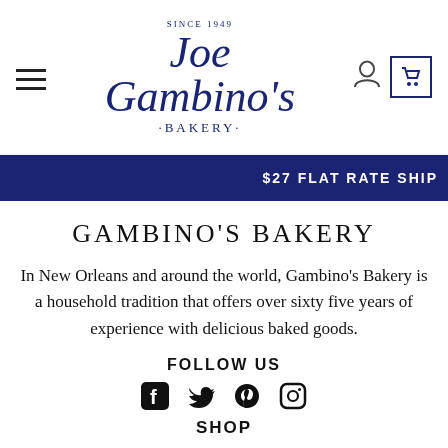[Figure (logo): Joe Gambino's Bakery logo with script font in navy blue, 'SINCE 1949' above and '·BAKERY·' below]
$27 FLAT RATE SHIP
GAMBINO'S BAKERY
In New Orleans and around the world, Gambino's Bakery is a household tradition that offers over sixty five years of experience with delicious baked goods.
FOLLOW US
[Figure (illustration): Social media icons: Facebook, Twitter, Pinterest, Instagram]
SHOP
King Cakes
Doberge Cakes